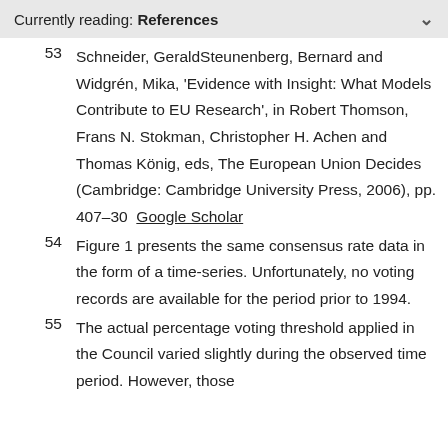Currently reading: References
53  Schneider, GeraldSteunenberg, Bernard and Widgrén, Mika, 'Evidence with Insight: What Models Contribute to EU Research', in Robert Thomson, Frans N. Stokman, Christopher H. Achen and Thomas König, eds, The European Union Decides (Cambridge: Cambridge University Press, 2006), pp. 407–30  Google Scholar
54  Figure 1 presents the same consensus rate data in the form of a time-series. Unfortunately, no voting records are available for the period prior to 1994.
55  The actual percentage voting threshold applied in the Council varied slightly during the observed time period. However, those